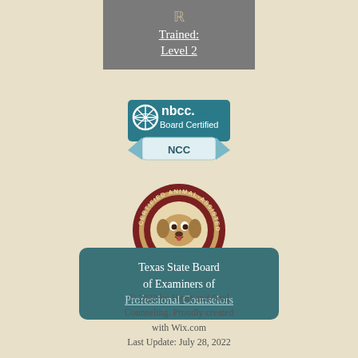[Figure (logo): Gray banner with icon and text 'Trained: Level 2' underlined in white]
[Figure (logo): NBCC Board Certified NCC badge in teal and white]
[Figure (logo): Certified Animal-Assisted Counselor circular seal in dark red and gold]
Texas State Board of Examiners of Professional Counselors
© 2022 by Heart and Soul Counseling. Proudly created with Wix.com Last Update: July 28, 2022